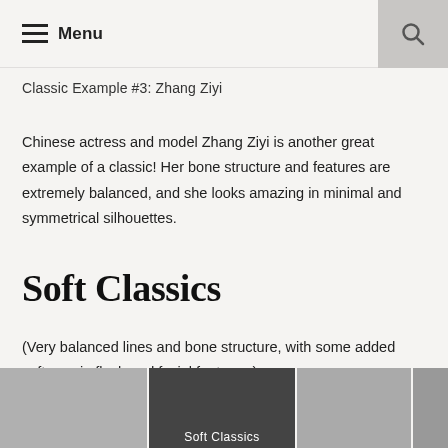Menu
Classic Example #3: Zhang Ziyi
Chinese actress and model Zhang Ziyi is another great example of a classic! Her bone structure and features are extremely balanced, and she looks amazing in minimal and symmetrical silhouettes.
Soft Classics
(Very balanced lines and bone structure, with some added softness in flesh and facial features.)
[Figure (photo): Bottom strip showing three photos related to Soft Classics: a woman with dark hair on left, a dark background with 'Soft Classics' text in center, and a woman in white on right.]